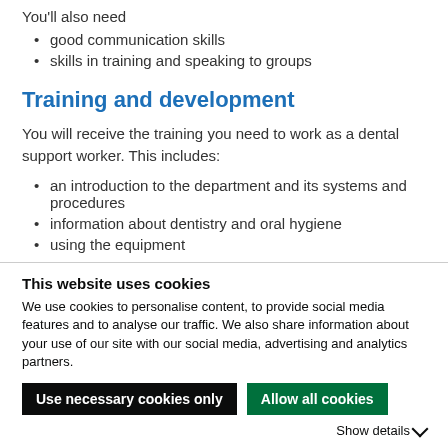You'll also need
good communication skills
skills in training and speaking to groups
Training and development
You will receive the training you need to work as a dental support worker. This includes:
an introduction to the department and its systems and procedures
information about dentistry and oral hygiene
using the equipment
This website uses cookies
We use cookies to personalise content, to provide social media features and to analyse our traffic. We also share information about your use of our site with our social media, advertising and analytics partners.
Use necessary cookies only
Allow all cookies
Show details